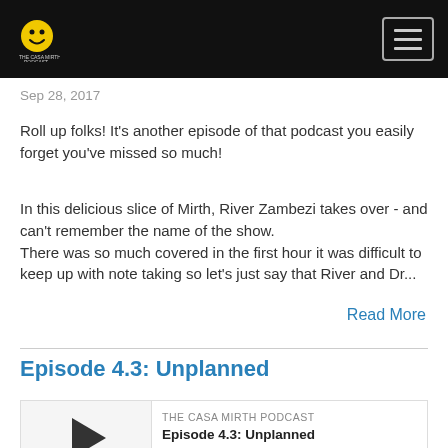The Casa Mirth Podcast - navigation header
Sep 28, 2017
Roll up folks! It's another episode of that podcast you easily forget you've missed so much!
In this delicious slice of Mirth, River Zambezi takes over - and can't remember the name of the show.
There was so much covered in the first hour it was difficult to keep up with note taking so let's just say that River and Dr...
Read More
Episode 4.3: Unplanned
[Figure (other): Podcast player widget for Episode 4.3: Unplanned from The Casa Mirth Podcast, showing play button, episode title, progress bar, timestamp 00:00:00, and control icons]